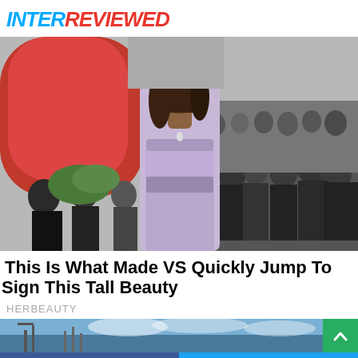INTERREVIEWED
[Figure (photo): A tall woman in a lavender strapless gown posing on a red carpet event surrounded by a crowd of people]
This Is What Made VS Quickly Jump To Sign This Tall Beauty
HERBEAUTY
[Figure (photo): A landscape/cityscape image partially visible showing structures against a cloudy sky, with a green scroll-to-top button]
Facebook share button | Twitter share button